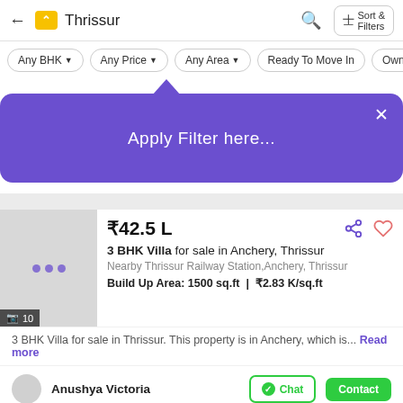← Thrissur | Sort & Filters
Any BHK ▾ | Any Price ▾ | Any Area ▾ | Ready To Move In | Owner
[Figure (screenshot): Purple tooltip popup with text 'Apply Filter here...' and a close X button]
₹42.5 L
3 BHK Villa for sale in Anchery, Thrissur
Nearby Thrissur Railway Station,Anchery, Thrissur
Build Up Area: 1500 sq.ft | ₹2.83 K/sq.ft
3 BHK Villa for sale in Thrissur. This property is in Anchery, which is... Read more
Anushya Victoria | Chat | Contact